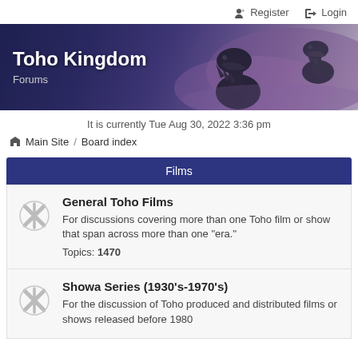Register  Login
[Figure (illustration): Toho Kingdom Forums banner with dark purple/blue background and monster silhouettes (Godzilla-like creatures) on the right side]
Toho Kingdom
Forums
It is currently Tue Aug 30, 2022 3:36 pm
Main Site  /  Board index
Films
General Toho Films
For discussions covering more than one Toho film or show that span across more than one "era."
Topics: 1470
Showa Series (1930's-1970's)
For the discussion of Toho produced and distributed films or shows released before 1980...